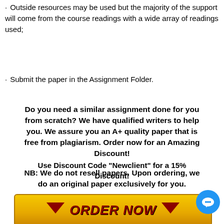· Outside resources may be used but the majority of the support will come from the course readings with a wide array of readings used;
· Submit the paper in the Assignment Folder.
Do you need a similar assignment done for you from scratch? We have qualified writers to help you. We assure you an A+ quality paper that is free from plagiarism. Order now for an Amazing Discount!
Use Discount Code "Newclient" for a 15% Discount!
NB: We do not resell papers. Upon ordering, we do an original paper exclusively for you.
[Figure (other): Yellow ORDER NOW button with dark red arrows pointing down on left and right sides, and a blue chat bubble icon in the top right corner.]